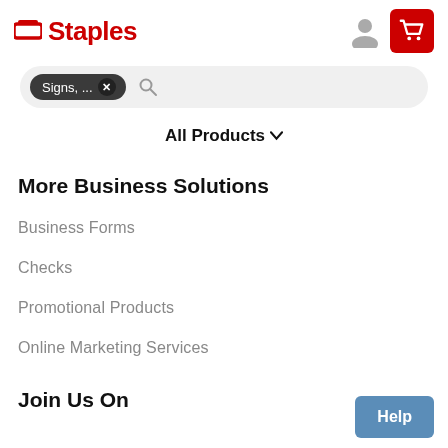Staples
Signs, ...
All Products ▾
More Business Solutions
Business Forms
Checks
Promotional Products
Online Marketing Services
Join Us On
Help